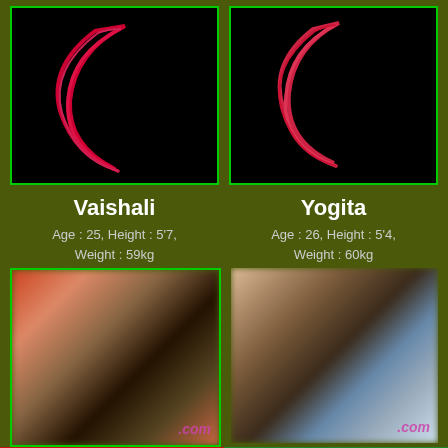[Figure (photo): Black background image with red crescent moon shape - left panel (Vaishali)]
[Figure (photo): Black background image with red/pink crescent moon shape - right panel (Yogita)]
Vaishali
Yogita
Age : 25, Height : 5’7, Weight : 59kg
Age : 26, Height : 5’4, Weight : 60kg
[Figure (photo): Blurred adult content photo - left bottom panel]
[Figure (photo): Blurred adult content photo - right bottom panel, woman with dark hair]
Call: 8864810098
WhatsApp